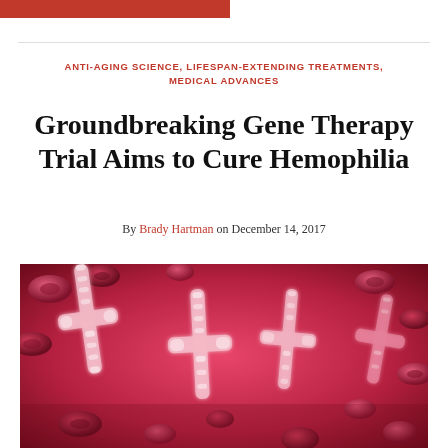ANTI-AGING SCIENCE, LIFESPAN-EXTENDING TREATMENTS, MEDICAL ADVANCES
Groundbreaking Gene Therapy Trial Aims to Cure Hemophilia
By Brady Hartman on December 14, 2017
[Figure (photo): 3D illustration of red blood cells and glowing X chromosomes on a dark red/crimson background, representing gene therapy for hemophilia]